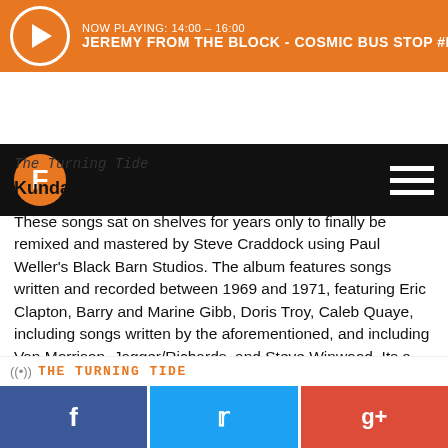NOW PLAYING: 14:00 - 16:00 JEREMY FROM THE BLOCK - COSMIC BUS STOP #LIVE
[Figure (logo): Orange F logo circle on black navigation bar with hamburger menu icon]
The Turning Tide
Kundalini Music
These songs sat on shelves for years only to finally be remixed and mastered by Steve Craddock using Paul Weller's Black Barn Studios. The album features songs written and recorded between 1969 and 1971, featuring Eric Clapton, Barry and Marine Gibb, Doris Troy, Caleb Quaye, including songs written by the aforementioned, and including Van Morrison, Jagger/Richards, and Steve Winwood. Its a collection that was sure to make this year's Best Of!
THE TURNING TIDE